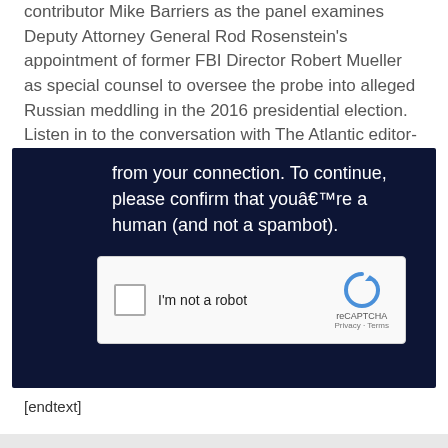contributor Mike Barriers as the panel examines Deputy Attorney General Rod Rosenstein's appointment of former FBI Director Robert Mueller as special counsel to oversee the probe into alleged Russian meddling in the 2016 presidential election. Listen in to the conversation with The Atlantic editor-in-chief Jeffrey Goldberg and former National Security Advisor Stephen Hadley.
[Figure (screenshot): Dark navy background box showing a CAPTCHA verification prompt with text 'from your connection. To continue, please confirm that youâ€™re a human (and not a spambot).' and a reCAPTCHA widget with checkbox labeled 'I'm not a robot']
[endtext]